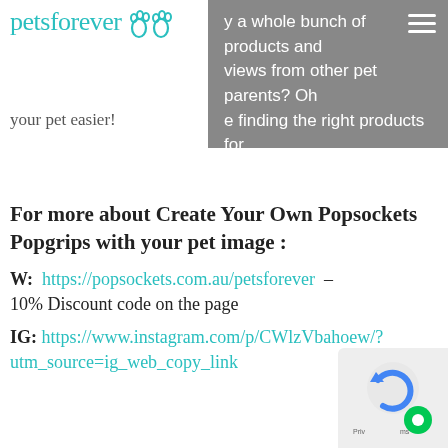[Figure (logo): petsforever logo with teal cursive text and paw print icons]
your pet easier!
[Figure (screenshot): Grey banner with partial text: 'y a whole bunch of products and views from other pet parents? Oh e finding the right products for' and hamburger menu icon]
For more about Create Your Own Popsockets Popgrips with your pet image :
W: https://popsockets.com.au/petsforever – 10% Discount code on the page
IG: https://www.instagram.com/p/CWlzVbahoew/?utm_source=ig_web_copy_link